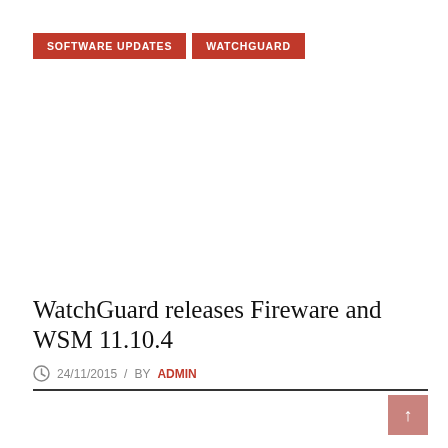SOFTWARE UPDATES | WATCHGUARD
WatchGuard releases Fireware and WSM 11.10.4
24/11/2015 / BY ADMIN